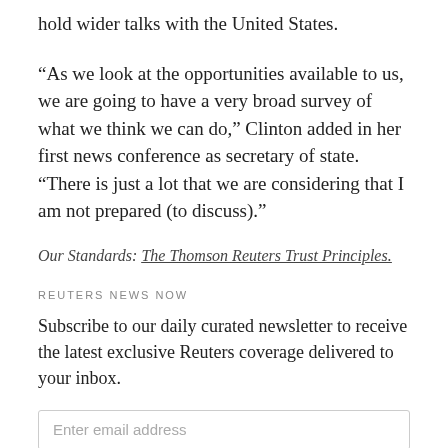hold wider talks with the United States.
“As we look at the opportunities available to us, we are going to have a very broad survey of what we think we can do,” Clinton added in her first news conference as secretary of state. “There is just a lot that we are considering that I am not prepared (to discuss).”
Our Standards: The Thomson Reuters Trust Principles.
REUTERS NEWS NOW
Subscribe to our daily curated newsletter to receive the latest exclusive Reuters coverage delivered to your inbox.
Enter email address